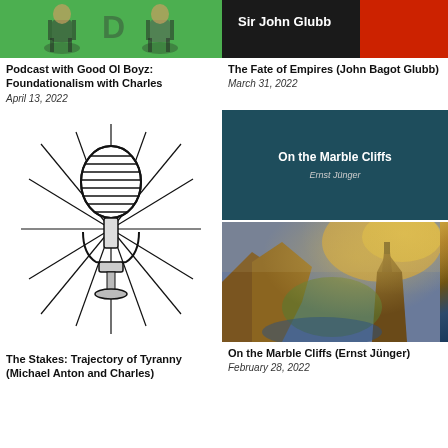[Figure (illustration): Green background illustrated cartoon showing figures on chairs]
Podcast with Good Ol Boyz: Foundationalism with Charles
April 13, 2022
[Figure (illustration): Dark background with red accent showing text 'Sir John Glubb']
The Fate of Empires (John Bagot Glubb)
March 31, 2022
[Figure (illustration): Black and white illustrated vintage microphone with radiating lines]
The Stakes: Trajectory of Tyranny (Michael Anton and Charles)
[Figure (illustration): Book cover with teal/dark blue background showing 'On the Marble Cliffs' by Ernst Jünger]
[Figure (photo): Romantic landscape painting of cliffs, castle ruins and river valley in golden light]
On the Marble Cliffs (Ernst Jünger)
February 28, 2022